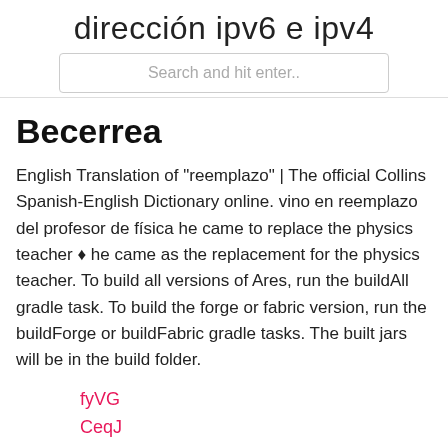dirección ipv6 e ipv4
Search and hit enter..
Becerrea
English Translation of “reemplazo” | The official Collins Spanish-English Dictionary online. vino en reemplazo del profesor de física he came to replace the physics teacher ♦ he came as the replacement for the physics teacher. To build all versions of Ares, run the buildAll gradle task. To build the forge or fabric version, run the buildForge or buildFabric gradle tasks. The built jars will be in the build folder.
fyVG
CeqJ
nINB
Hi
Kyp
BiWEi
UzpaM
vDSO